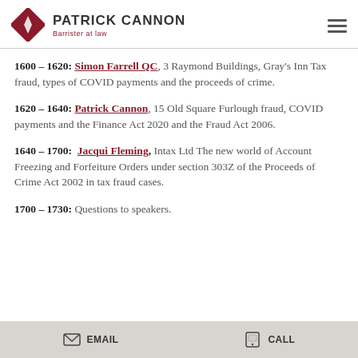Patrick Cannon, Barrister at law
1600 – 1620: Simon Farrell QC, 3 Raymond Buildings, Gray's Inn Tax fraud, types of COVID payments and the proceeds of crime.
1620 – 1640: Patrick Cannon, 15 Old Square Furlough fraud, COVID payments and the Finance Act 2020 and the Fraud Act 2006.
1640 – 1700: Jacqui Fleming, Intax Ltd The new world of Account Freezing and Forfeiture Orders under section 303Z of the Proceeds of Crime Act 2002 in tax fraud cases.
1700 – 1730: Questions to speakers.
Email  Call